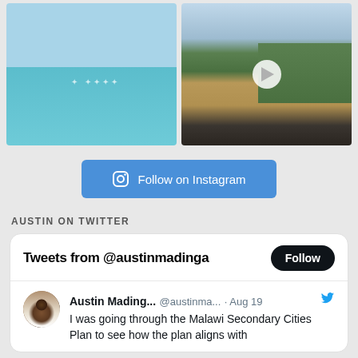[Figure (photo): Ocean/sea photo with birds flying over calm turquoise water]
[Figure (photo): Road through countryside with trees, dashcam/windscreen view, video play button overlay]
Follow on Instagram
AUSTIN ON TWITTER
Tweets from @austinmadinga
Follow
Austin Mading... @austinma... · Aug 19
I was going through the Malawi Secondary Cities Plan to see how the plan aligns with